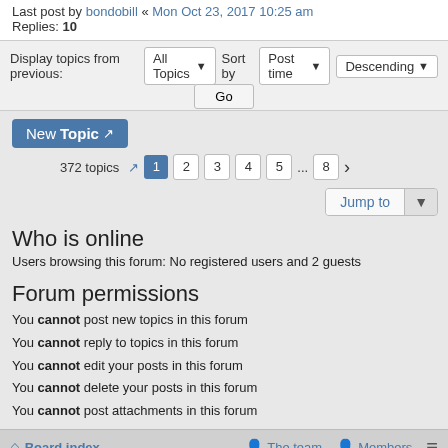Last post by bondobill « Mon Oct 23, 2017 10:25 am
Replies: 10
Display topics from previous: All Topics ▼  Sort by  Post time ▼  Descending ▼
Go
New Topic ↗
372 topics ↗  1 2 3 4 5 ... 8 ›
Jump to ▼
Who is online
Users browsing this forum: No registered users and 2 guests
Forum permissions
You cannot post new topics in this forum
You cannot reply to topics in this forum
You cannot edit your posts in this forum
You cannot delete your posts in this forum
You cannot post attachments in this forum
Board index  The team  Members  ≡
Powered by phpBB® Forum Software © phpBB Limited Style by Arty